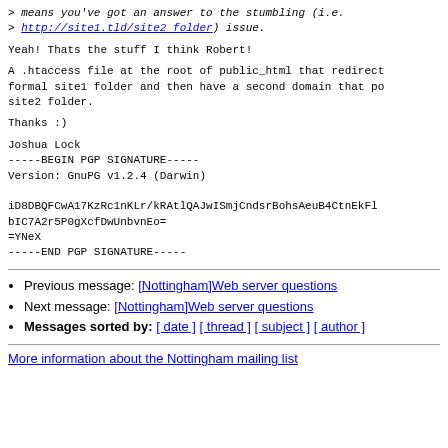> means you've got an answer to the stumbling (i.e.
> http://site1.tld/site2 folder) issue.
Yeah! Thats the stuff I think Robert!
A .htaccess file at the root of public_html that redirects formal site1 folder and then have a second domain that points to site2 folder.
Thanks :)
Joshua Lock
-----BEGIN PGP SIGNATURE-----
Version: GnuPG v1.2.4 (Darwin)

iD8DBQFCwA17KzRc1nKLr/kRAtlQAJwISmjCndsrBohsAeuB4CtnEkFlY
bIC7A2r5P0gXcfDwUnbvnEo=
=YNeX
-----END PGP SIGNATURE-----
Previous message: [Nottingham]Web server questions
Next message: [Nottingham]Web server questions
Messages sorted by: [ date ] [ thread ] [ subject ] [ author ]
More information about the Nottingham mailing list